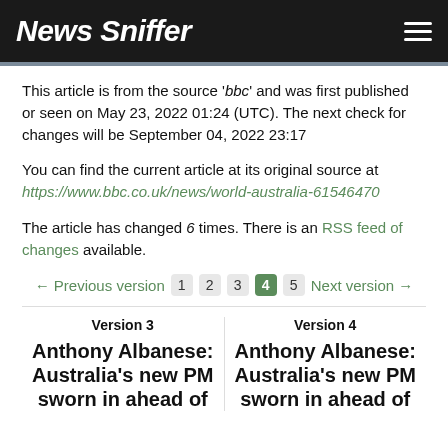News Sniffer
This article is from the source 'bbc' and was first published or seen on May 23, 2022 01:24 (UTC). The next check for changes will be September 04, 2022 23:17
You can find the current article at its original source at https://www.bbc.co.uk/news/world-australia-61546470
The article has changed 6 times. There is an RSS feed of changes available.
← Previous version  1  2  3  4  5  Next version →
Version 3
Anthony Albanese: Australia's new PM sworn in ahead of
Version 4
Anthony Albanese: Australia's new PM sworn in ahead of